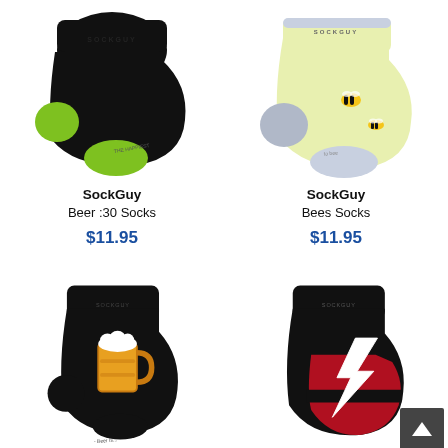[Figure (photo): SockGuy Beer :30 Socks — black ankle sock with neon green heel and toe]
SockGuy
Beer :30 Socks
$11.95
[Figure (photo): SockGuy Bees Socks — light yellow ankle sock with gray heel and bee graphics]
SockGuy
Bees Socks
$11.95
[Figure (photo): SockGuy beer mug socks — black ankle sock with beer mug graphic]
[Figure (photo): SockGuy lightning bolt socks — black ankle sock with red and white lightning bolt graphic]